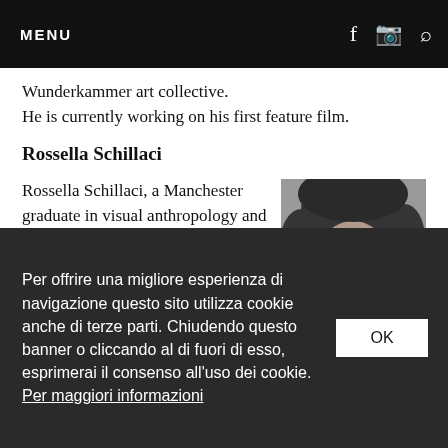MENU
Wunderkammer art collective.
He is currently working on his first feature film.
Rossella Schillaci
Rossella Schillaci, a Manchester graduate in visual anthropology and documentary filmmaking, is the author and director of
[Figure (photo): Black and white portrait photo of Rossella Schillaci, a woman with curly dark hair.]
Per offrire una migliore esperienza di navigazione questo sito utilizza cookie anche di terze parti. Chiudendo questo banner o cliccando al di fuori di esso, esprimerai il consenso all'uso dei cookie. Per maggiori informazioni